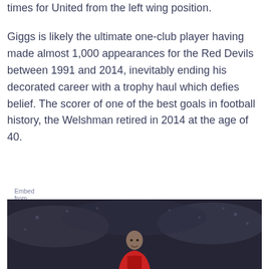times for United from the left wing position.
Giggs is likely the ultimate one-club player having made almost 1,000 appearances for the Red Devils between 1991 and 2014, inevitably ending his decorated career with a trophy haul which defies belief. The scorer of one of the best goals in football history, the Welshman retired in 2014 at the age of 40.
Embed from Getty Images
[Figure (photo): A footballer (Ryan Giggs) standing on a pitch with a blurred crowd in the background, dark stadium atmosphere]